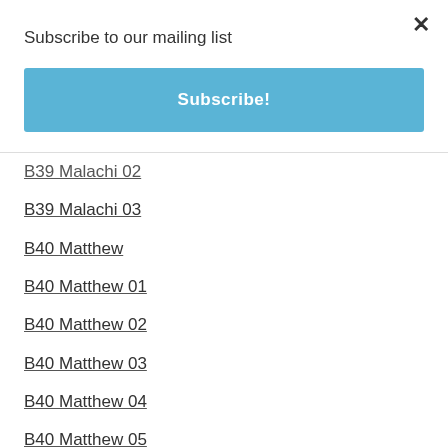Subscribe to our mailing list
×
Subscribe!
B39 Malachi 02
B39 Malachi 03
B40 Matthew
B40 Matthew 01
B40 Matthew 02
B40 Matthew 03
B40 Matthew 04
B40 Matthew 05
B40 Matthew 06
B40 Matthew 07
B40 Matthew 08
B40 Matthew 09
B40 Matthew 11
B40 Matthew 13